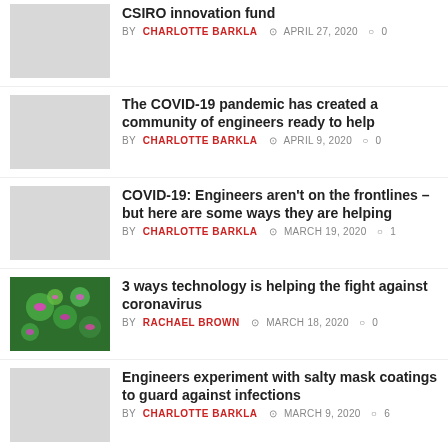CSIRO innovation fund | BY CHARLOTTE BARKLA | APRIL 27, 2020 | 0 comments
The COVID-19 pandemic has created a community of engineers ready to help | BY CHARLOTTE BARKLA | APRIL 9, 2020 | 0 comments
COVID-19: Engineers aren't on the frontlines – but here are some ways they are helping | BY CHARLOTTE BARKLA | MARCH 19, 2020 | 1 comment
3 ways technology is helping the fight against coronavirus | BY RACHAEL BROWN | MARCH 18, 2020 | 0 comments
Engineers experiment with salty mask coatings to guard against infections | BY CHARLOTTE BARKLA | MARCH 9, 2020 | 6 comments
World Engineering Day: Looking after good health and wellbeing